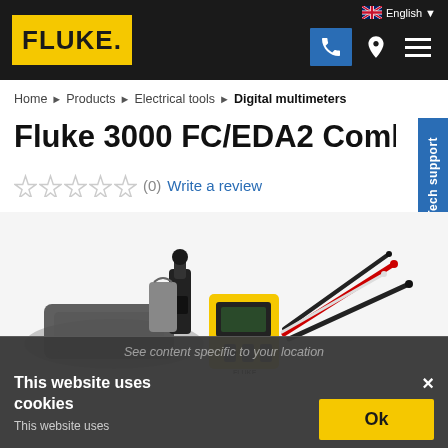[Figure (logo): Fluke logo — yellow background with bold black FLUKE. text, navigation bar with phone icon, location pin, hamburger menu, English language selector with UK flag]
Home ▸ Products ▸ Electrical tools ▸ Digital multimeters
Fluke 3000 FC/EDA2 Combo Kit
★★★★★ (0)  Write a review
[Figure (photo): Product photo of Fluke 3000 FC/EDA2 Combo Kit showing carrying case, clamp accessory, yellow digital multimeter, and test probe leads]
See content specific to your location
This website uses cookies
This website uses
Ok